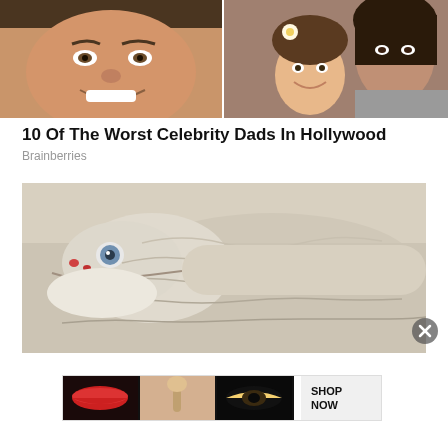[Figure (photo): Two side-by-side celebrity photos: left shows a smiling man (Tom Cruise close-up face), right shows a young girl with a flower in her hair smiling beside a woman in a grey shirt]
10 Of The Worst Celebrity Dads In Hollywood
Brainberries
[Figure (photo): Close-up photo of a white albino rattlesnake with blue eyes and red nostrils, coiled, looking at camera]
[Figure (photo): Ulta Beauty advertisement banner showing makeup imagery: red lips, makeup brush, eye with mascara, Ulta logo, dramatic eye makeup, and SHOP NOW button]